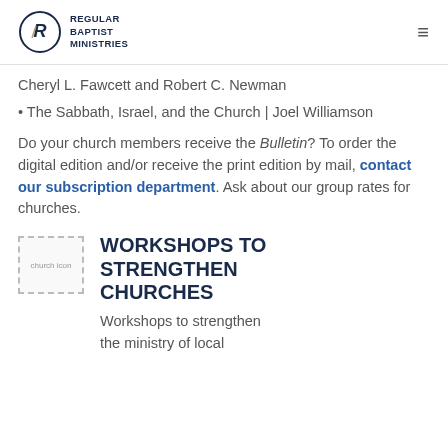Regular Baptist Ministries
Cheryl L. Fawcett and Robert C. Newman
• The Sabbath, Israel, and the Church | Joel Williamson
Do your church members receive the Bulletin? To order the digital edition and/or receive the print edition by mail, contact our subscription department. Ask about our group rates for churches.
[Figure (illustration): Church icon image placeholder showing text 'church icon']
WORKSHOPS TO STRENGTHEN CHURCHES
Workshops to strengthen the ministry of local